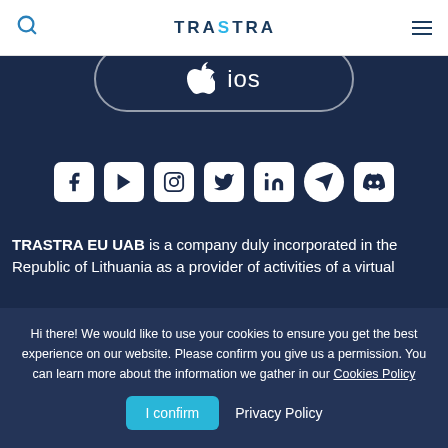TRASTRA
[Figure (screenshot): iOS download button with Apple logo and 'ios' text, on dark navy background]
[Figure (infographic): Row of social media icons: Facebook, YouTube, Instagram, Twitter, LinkedIn, Telegram, Discord]
TRASTRA EU UAB is a company duly incorporated in the Republic of Lithuania as a provider of activities of a virtual
Hi there! We would like to use your cookies to ensure you get the best experience on our website. Please confirm you give us a permission. You can learn more about the information we gather in our Cookies Policy
I confirm   Privacy Policy